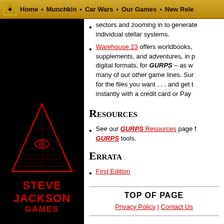Home • Munchkin • Car Wars • Our Games • New Rele...
sectors and zooming in to generate individual stellar systems.
Warehouse 23 offers worldbooks, supplements, and adventures, in p... digital formats, for GURPS – as w... many of our other game lines. Sur... for the files you want . . . and get t... instantly with a credit card or Pay...
Resources
See our GURPS Resources page f... GURPS tools.
Errata
First Edition
[Figure (logo): Steve Jackson Games logo: red pyramid with eye, text STEVE JACKSON GAMES on black background]
TOP OF PAGE
Privacy Policy | Contact Us